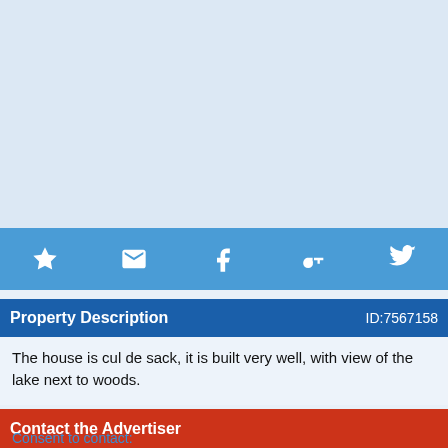[Figure (other): Light blue image placeholder area at top of page]
Property Description  ID:7567158
The house is cul de sack, it is built very well, with view of the lake next to woods.
Contact the Advertiser
Consent to contact: